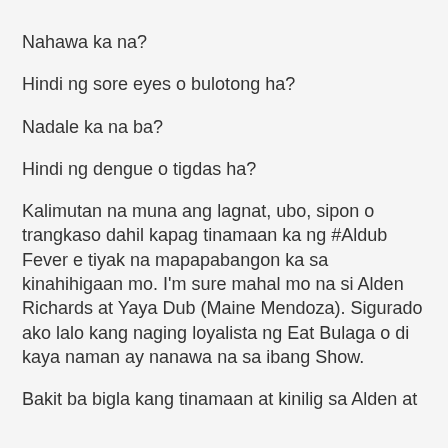Nahawa ka na?
Hindi ng sore eyes o bulotong ha?
Nadale ka na ba?
Hindi ng dengue o tigdas ha?
Kalimutan na muna ang lagnat, ubo, sipon o trangkaso dahil kapag tinamaan ka ng #Aldub Fever e tiyak na mapapabangon ka sa kinahihigaan mo. I'm sure mahal mo na si Alden Richards at Yaya Dub (Maine Mendoza). Sigurado ako lalo kang naging loyalista ng Eat Bulaga o di kaya naman ay nanawa na sa ibang Show.
Bakit ba bigla kang tinamaan at kinilig sa Alden at